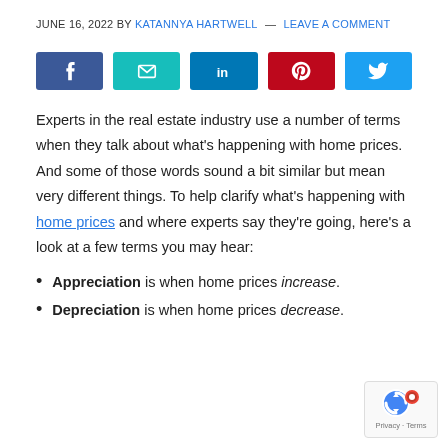JUNE 16, 2022 BY KATANNYA HARTWELL — LEAVE A COMMENT
[Figure (other): Social media share buttons: Facebook, Email, LinkedIn, Pinterest, Twitter]
Experts in the real estate industry use a number of terms when they talk about what's happening with home prices. And some of those words sound a bit similar but mean very different things. To help clarify what's happening with home prices and where experts say they're going, here's a look at a few terms you may hear:
Appreciation is when home prices increase.
Depreciation is when home prices decrease.